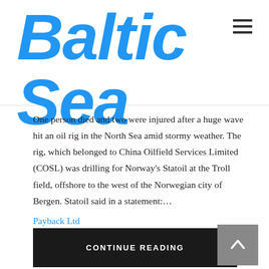Baltic Sea
One person died and two were injured after a huge wave hit an oil rig in the North Sea amid stormy weather. The rig, which belonged to China Oilfield Services Limited (COSL) was drilling for Norway's Statoil at the Troll field, offshore to the west of the Norwegian city of Bergen. Statoil said in a statement:…
Payback Ltd
CONTINUE READING